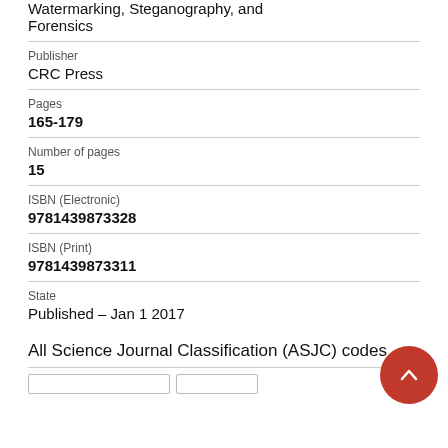Watermarking, Steganography, and Forensics
Publisher
CRC Press
Pages
165-179
Number of pages
15
ISBN (Electronic)
9781439873328
ISBN (Print)
9781439873311
State
Published – Jan 1 2017
All Science Journal Classification (ASJC) codes